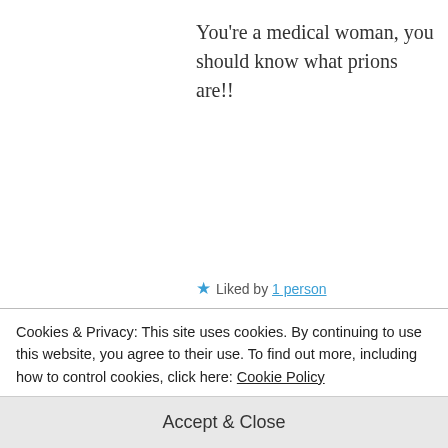You're a medical woman, you should know what prions are!!
★ Liked by 1 person
[Figure (photo): Circular avatar photo of a woman with red/auburn hair, showing only the top half of the face/eyes]
House of Heart
SEPTEMBER 20,
Cookies & Privacy: This site uses cookies. By continuing to use this website, you agree to their use. To find out more, including how to control cookies, click here: Cookie Policy
Accept & Close
a good medical woman.